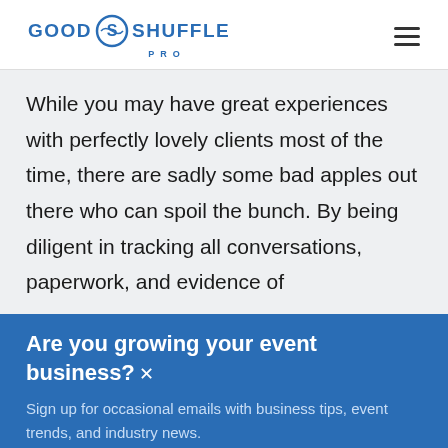GOOD SHUFFLE PRO
While you may have great experiences with perfectly lovely clients most of the time, there are sadly some bad apples out there who can spoil the bunch. By being diligent in tracking all conversations, paperwork, and evidence of
Are you growing your event business?
Sign up for occasional emails with business tips, event trends, and industry news.
Subscribe now